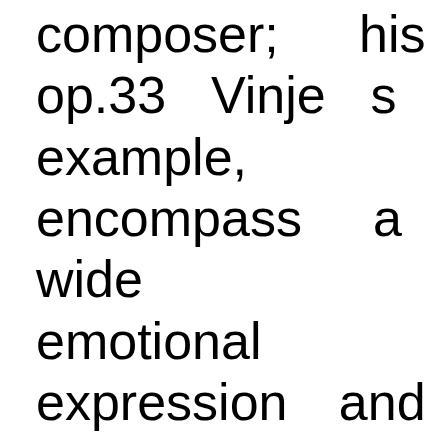composer; his op.33 Vinje s example, encompass a wide emotional expression and atmosp and the ten opus numbers of Lyr piano hold a wealth of characte sketches. But he also was a pi impressionistic uses of harmony sonority in his late songs dissonance treatment in the S peasant fiddle tunes arranged for